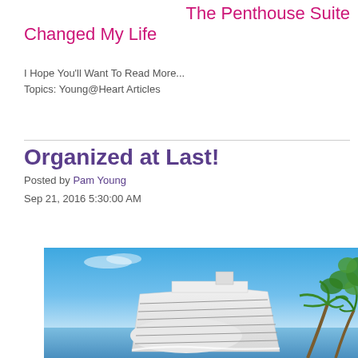The Penthouse Suite Changed My Life
I Hope You'll Want To Read More...
Topics: Young@Heart Articles
Organized at Last!
Posted by Pam Young
Sep 21, 2016 5:30:00 AM
[Figure (photo): A large white cruise ship at sea with palm trees on the right side against a bright blue sky.]